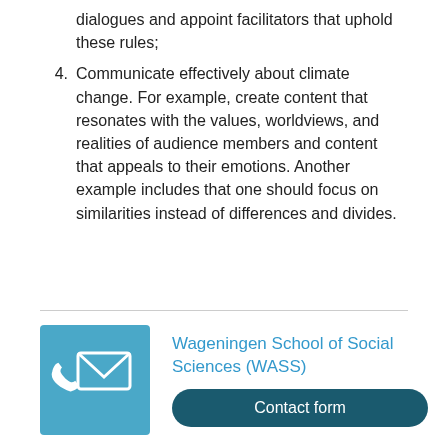dialogues and appoint facilitators that uphold these rules;
4. Communicate effectively about climate change. For example, create content that resonates with the values, worldviews, and realities of audience members and content that appeals to their emotions. Another example includes that one should focus on similarities instead of differences and divides.
[Figure (infographic): Blue square icon with phone and envelope symbols representing contact]
Wageningen School of Social Sciences (WASS)
Contact form